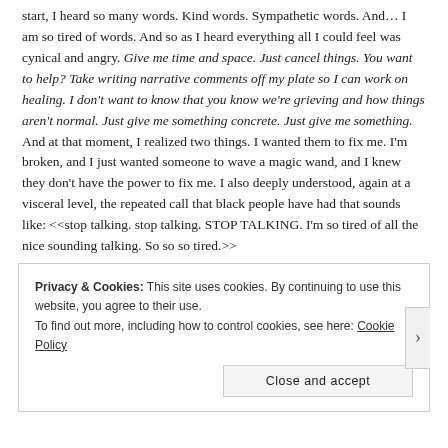start, I heard so many words. Kind words. Sympathetic words. And… I am so tired of words. And so as I heard everything all I could feel was cynical and angry. Give me time and space. Just cancel things. You want to help? Take writing narrative comments off my plate so I can work on healing. I don't want to know that you know we're grieving and how things aren't normal. Just give me something concrete. Just give me something. And at that moment, I realized two things. I wanted them to fix me. I'm broken, and I just wanted someone to wave a magic wand, and I knew they don't have the power to fix me. I also deeply understood, again at a visceral level, the repeated call that black people have had that sounds like: <<stop talking. stop talking. STOP TALKING. I'm so tired of all the nice sounding talking. So so so tired.>>
Privacy & Cookies: This site uses cookies. By continuing to use this website, you agree to their use. To find out more, including how to control cookies, see here: Cookie Policy